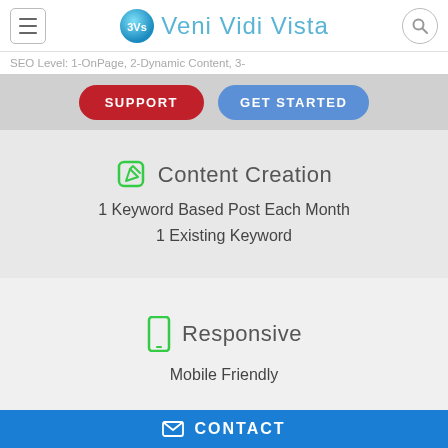3Vs Veni Vidi Vista — navigation header with hamburger menu and search button
SEO Level: 1-OnPage, 2-Dynamic Content, 3-...
SUPPORT   GET STARTED
Content Creation
1 Keyword Based Post Each Month
1 Existing Keyword
Responsive
Mobile Friendly
Premium Image & Video Slider
CONTACT